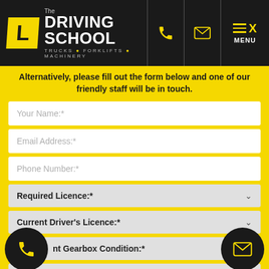[Figure (logo): The Driving School logo with yellow L plate, white text, subtitle TRUCKS FORKLIFTS MACHINERY on black header with phone, email and menu icons]
Alternatively, please fill out the form below and one of our friendly staff will be in touch.
Your Name:*
Email Address:*
Phone Number:*
Required Licence:*
Current Driver's Licence:*
nt Gearbox Condition:*
Current Licence State:*